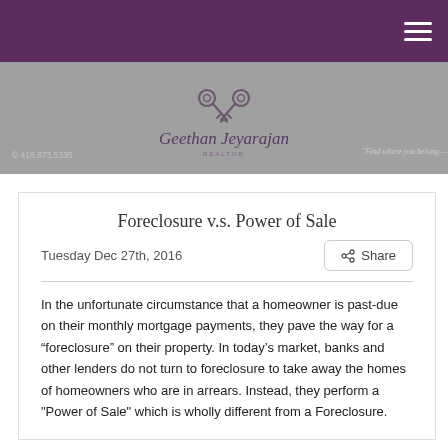Navigation menu (hamburger icon)
[Figure (logo): Geethan Jeyarajan real estate logo with crossed keys and cursive script. Phone number on left, tagline on right.]
Foreclosure v.s. Power of Sale
Tuesday Dec 27th, 2016
Share
In the unfortunate circumstance that a homeowner is past-due on their monthly mortgage payments, they pave the way for a “foreclosure” on their property. In today’s market, banks and other lenders do not turn to foreclosure to take away the homes of homeowners who are in arrears. Instead, they perform a "Power of Sale" which is wholly different from a Foreclosure.